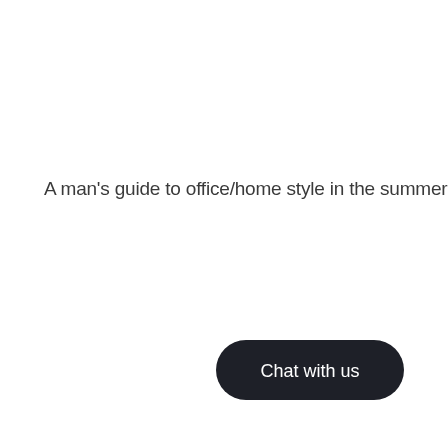A man's guide to office/home style in the summer heat
[Figure (other): Dark rounded pill-shaped button with white text reading 'Chat with us']